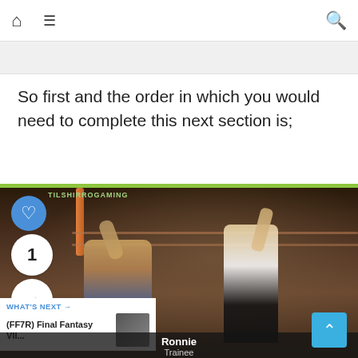Navigation bar with home, menu, and search icons
So first and the order in which you would need to complete this next section is;
[Figure (screenshot): Game screenshot from Final Fantasy VII Remake showing two fighter characters in a boxing gym/arena. Left character is a dark-skinned male in wrestling attire with arm raised. Right character appears to be Tifa Lockhart in fitness attire with arm raised. Channel watermark 'TILSHIRROGAMING' visible at top. Like button (heart icon, blue circle), number '1', and share button overlaid on left side. 'WHAT'S NEXT' label with thumbnail of another character below. 'Ronnie / Trainee' name card at bottom center. Scroll-to-top turquoise button at bottom right.]